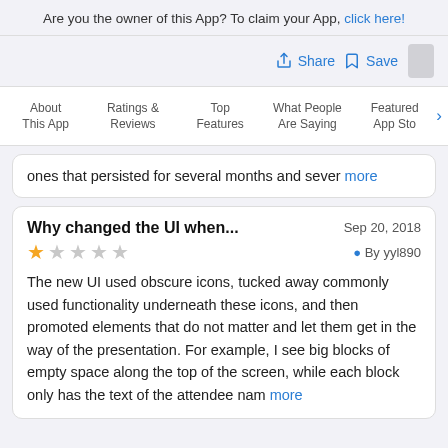Are you the owner of this App? To claim your App, click here!
Share  Save
About This App | Ratings & Reviews | Top Features | What People Are Saying | Featured App Sto ›
ones that persisted for several months and sever… more
Why changed the UI when...
Sep 20, 2018
★☆☆☆☆  By yyl890
The new UI used obscure icons, tucked away commonly used functionality underneath these icons, and then promoted elements that do not matter and let them get in the way of the presentation. For example, I see big blocks of empty space along the top of the screen, while each block only has the text of the attendee nam… more